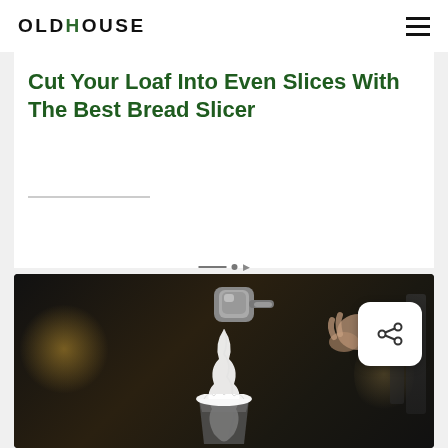OLDHOUSE
[Figure (photo): Top cropped photo showing a warm golden/brown background, likely a bread or kitchen-related image]
Cut Your Loaf Into Even Slices With The Best Bread Slicer
[Figure (photo): Photo of hands using a metal coffee/kitchen tool with whipped cream on a glass in a dark moody cafe setting, with a share button overlay]